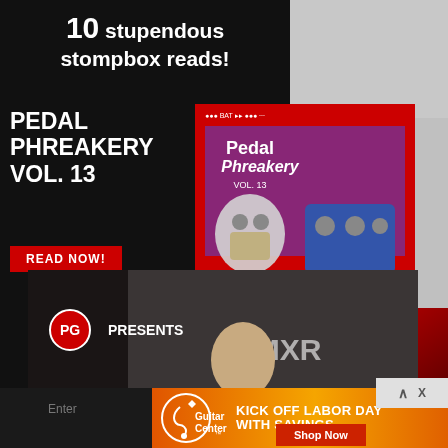10 stupendous stompbox reads!
PEDAL PHREAKERY VOL. 13
READ NOW!
[Figure (photo): Magazine cover for Pedal Phreakery Vol. 13 with guitar pedals]
[Figure (screenshot): PG Presents First Look video thumbnail featuring a guitarist with MXR Duke of Tone text overlay and play button]
[Figure (infographic): Guitar Center advertisement: KICK OFF LABOR DAY WITH SAVINGS - Shop Now button, Guitar Center logo on orange-red gradient background]